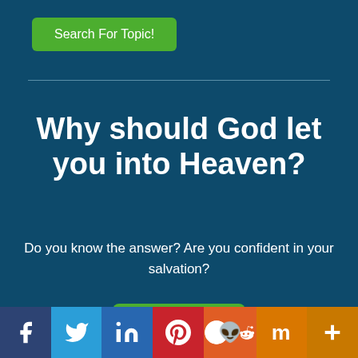[Figure (screenshot): Green button labeled 'Search For Topic!' at top left on dark teal background]
Why should God let you into Heaven?
Do you know the answer? Are you confident in your salvation?
[Figure (other): Green button labeled 'Find out!']
[Figure (infographic): Social media sharing bar with icons: Facebook (dark blue), Twitter (light blue), LinkedIn (blue), Pinterest (red), Reddit (orange-red), Mix (orange), More (orange)]